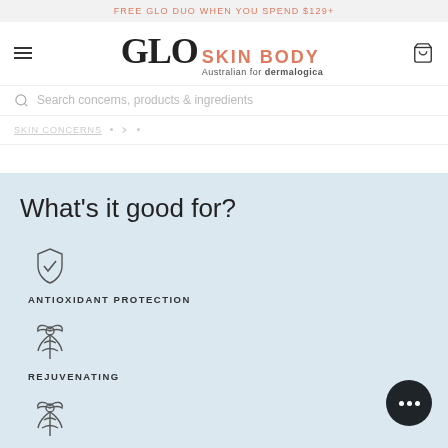FREE GLO DUO WHEN YOU SPEND $129+
[Figure (logo): GLO SKIN BODY logo - Australian for dermalogica]
Search concerns, products & ingredients
What's it good for?
[Figure (illustration): Shield with checkmark icon - ANTIOXIDANT PROTECTION]
ANTIOXIDANT PROTECTION
[Figure (illustration): Plant/bow icon - REJUVENATING]
REJUVENATING
[Figure (illustration): Plant/bow icon - RESTORING]
RESTORING